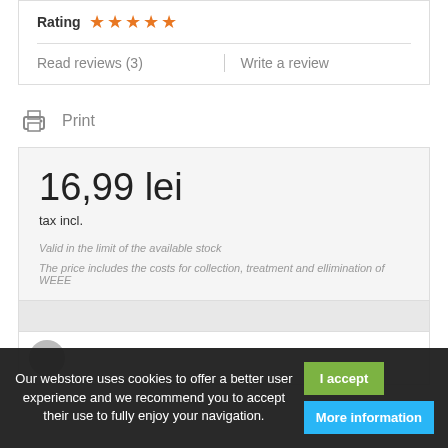Rating ★★★★★
Read reviews (3)  |  Write a review
Print
16,99 lei
tax incl.
Valid in the limit of the available stock
The price includes the costs for collection, treatment and ellimination of WEEE
Our webstore uses cookies to offer a better user experience and we recommend you to accept their use to fully enjoy your navigation.
I accept
More information